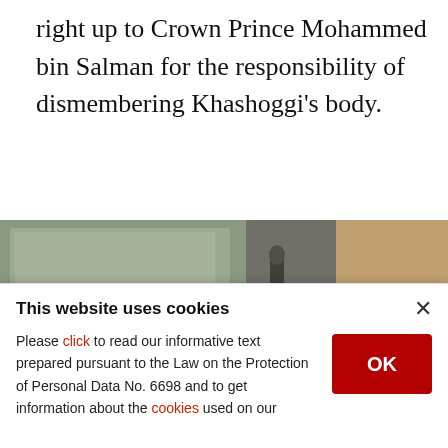right up to Crown Prince Mohammed bin Salman for the responsibility of dismembering Khashoggi's body.
[Figure (photo): Three-panel composite photograph showing surveillance or security camera footage: left panel shows a man's face close-up in an indoor setting with glass barriers; middle panel shows a hallway with a person walking; right panel shows a man in military uniform with stars on his shoulder.]
This website uses cookies
Please click to read our informative text prepared pursuant to the Law on the Protection of Personal Data No. 6698 and to get information about the cookies used on our